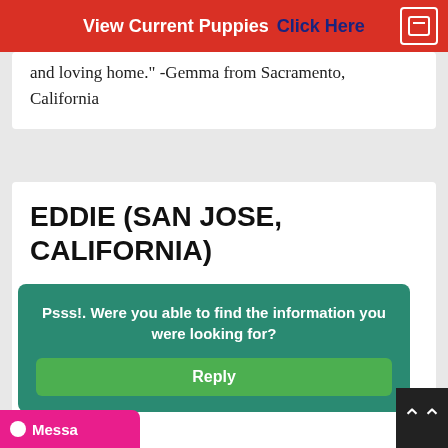View Current Puppies  Click Here
and loving home." -Gemma from Sacramento, California
EDDIE (SAN JOSE, CALIFORNIA)
"I've come to know this breed of dog from watching a segment reported on 60 minutes on how the military trained Belgian Malinois to detect explosive in the middle east. After doing some research on this breed, I found they have a...
Psss!. Were you able to find the information you were looking for?